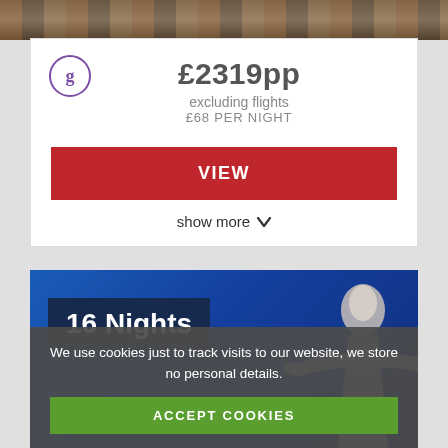[Figure (photo): Top banner image showing travel/market scene in muted brown tones]
£2319pp
excluding flights
£68 PER NIGHT
VIEW
show more
[Figure (photo): Blue travel card showing '16 Nights' badge and a statue (Christ the Redeemer) on right side with dark blue gradient background]
16 Nights
We use cookies just to track visits to our website, we store no personal details.
ACCEPT COOKIES